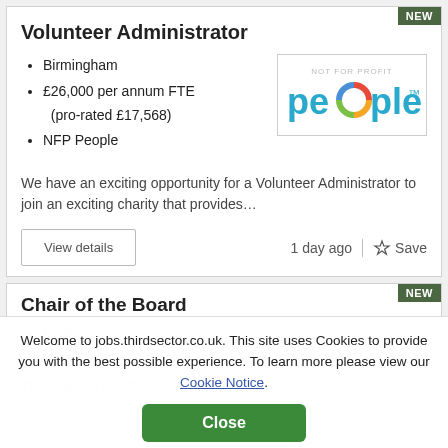Volunteer Administrator
Birmingham
£26,000 per annum FTE (pro-rated £17,568)
NFP People
[Figure (logo): NOT FOR PROFIT people logo with colorful circular icon]
We have an exciting opportunity for a Volunteer Administrator to join an exciting charity that provides…
View details
1 day ago
Save
Chair of the Board
Expenses only
Networx
[Figure (logo): networx logo]
They have a Board of
Welcome to jobs.thirdsector.co.uk. This site uses Cookies to provide you with the best possible experience. To learn more please view our Cookie Notice.
Close